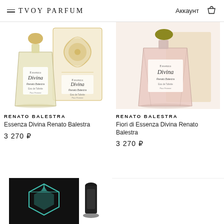≡ TVOY PARFUM  Аккаунт 🛒
[Figure (photo): Essenza Divina Renato Balestra perfume bottle and box with gold ornamental design]
RENATO BALESTRA
Essenza Divina Renato Balestra
3 270 ₽
[Figure (photo): Fiori di Essenza Divina Renato Balestra perfume bottle with yellow cap, pink glass, on textured background]
RENATO BALESTRA
Fiori di Essenza Divina Renato Balestra
3 270 ₽
[Figure (photo): Partial view of a black perfume box with diamond logo illustration and black perfume bottle]